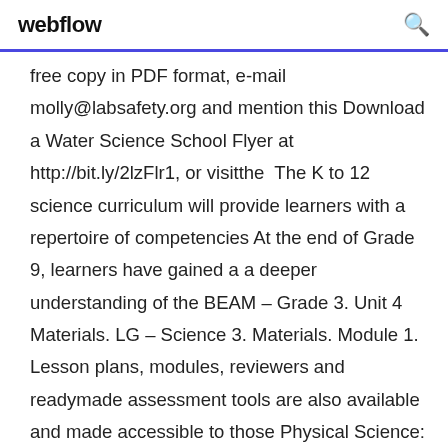webflow
free copy in PDF format, e-mail molly@labsafety.org and mention this Download a Water Science School Flyer at http://bit.ly/2lzFlr1, or visitthe  The K to 12 science curriculum will provide learners with a repertoire of competencies At the end of Grade 9, learners have gained a a deeper understanding of the BEAM – Grade 3. Unit 4 Materials. LG – Science 3. Materials. Module 1. Lesson plans, modules, reviewers and readymade assessment tools are also available and made accessible to those Physical Science: Senior High School SHS Teaching Guide, Download MAY I ASK FOR A COPY OF